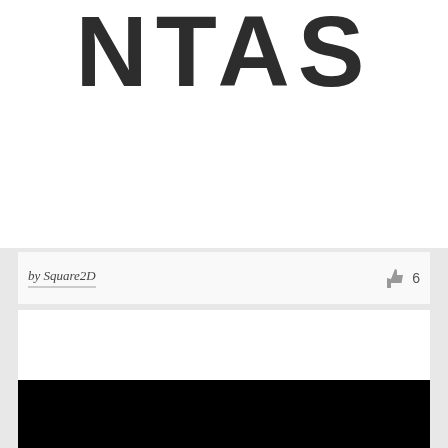[Figure (logo): Partial NTAS logo text in dark grey, bold condensed sans-serif letters, cropped at top]
by Square2D
6
[Figure (logo): LUMIGLASS logo: black parallelogram/trapezoid shape on left with white text 'LUMIGLASS' in bold sans-serif spanning across it and to the right on white background]
[Figure (other): Black bar at the bottom of the page, partial view]